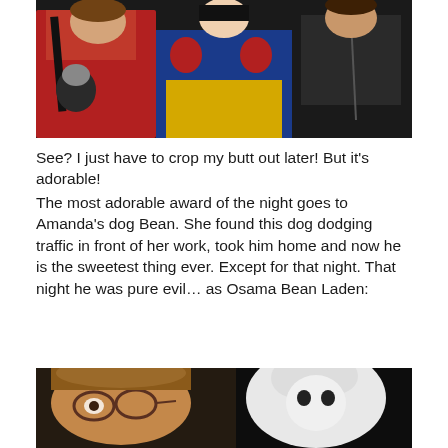[Figure (photo): Three people in Halloween costumes including someone in a red Michael Jackson Thriller jacket, a child in a Snow White dress (blue, yellow, red), and a person in a black hoodie, photographed indoors in dark setting.]
See? I just have to crop my butt out later! But it's adorable!
The most adorable award of the night goes to Amanda's dog Bean. She found this dog dodging traffic in front of her work, took him home and now he is the sweetest thing ever. Except for that night. That night he was pure evil… as Osama Bean Laden:
[Figure (photo): Close-up photo of a woman with glasses and a small dog dressed in a white costume, against a dark background.]